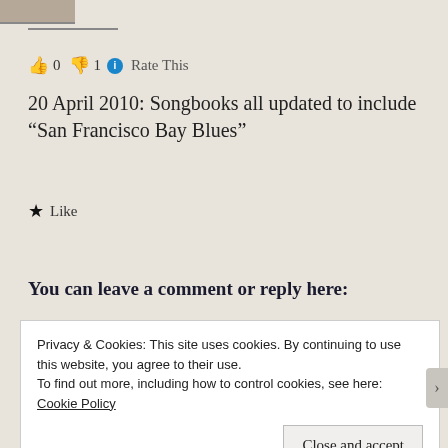[Figure (photo): Partial profile photo visible at top left, cropped]
👍 0 👎 1 ℹ Rate This
20 April 2010: Songbooks all updated to include “San Francisco Bay Blues”
★ Like
You can leave a comment or reply here:
Privacy & Cookies: This site uses cookies. By continuing to use this website, you agree to their use.
To find out more, including how to control cookies, see here:
Cookie Policy
Close and accept